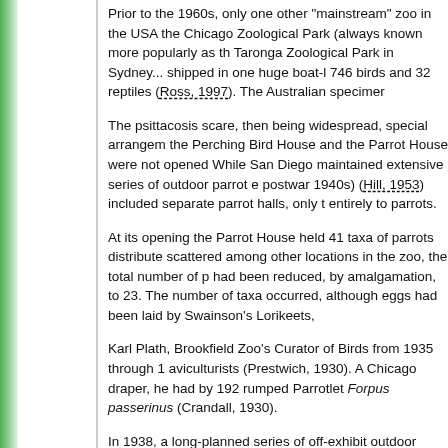Prior to the 1960s, only one other "mainstream" zoo in the USA ... the Chicago Zoological Park (always known more popularly as th... Taronga Zoological Park in Sydney... shipped in one huge boat-l... 746 birds and 32 reptiles (Ross, 1997). The Australian specimer...
The psittacosis scare, then being widespread, special arrangem... the Perching Bird House and the Parrot House were not opened... While San Diego maintained extensive series of outdoor parrot e... postwar 1940s) (Hill, 1953) included separate parrot halls, only t... entirely to parrots.
At its opening the Parrot House held 41 taxa of parrots distribute... scattered among other locations in the zoo, the total number of p... had been reduced, by amalgamation, to 23. The number of taxa... occurred, although eggs had been laid by Swainson's Lorikeets,
Karl Plath, Brookfield Zoo's Curator of Birds from 1935 through 1... aviculturists (Prestwich, 1930). A Chicago draper, he had by 192... rumped Parrotlet Forpus passerinus (Crandall, 1930).
In 1938, a long-planned series of off-exhibit outdoor breeding rui... summary of that first breeding season: seven species, all Austra... Parrot Polytelis alexandrae (from a pair which arrived in Chicago... into North America). By 1950 the original 12 runs had been incre...